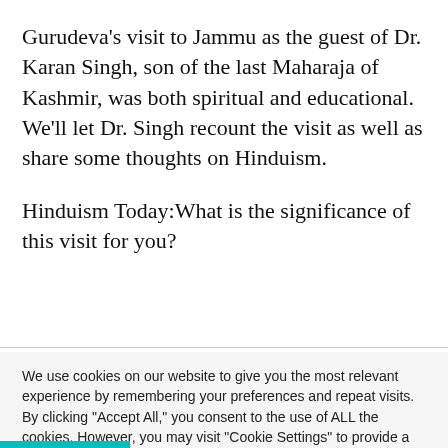Gurudeva's visit to Jammu as the guest of Dr. Karan Singh, son of the last Maharaja of Kashmir, was both spiritual and educational. We'll let Dr. Singh recount the visit as well as share some thoughts on Hinduism.
Hinduism Today:What is the significance of this visit for you?
We use cookies on our website to give you the most relevant experience by remembering your preferences and repeat visits. By clicking "Accept All," you consent to the use of ALL the cookies. However, you may visit "Cookie Settings" to provide a controlled consent.